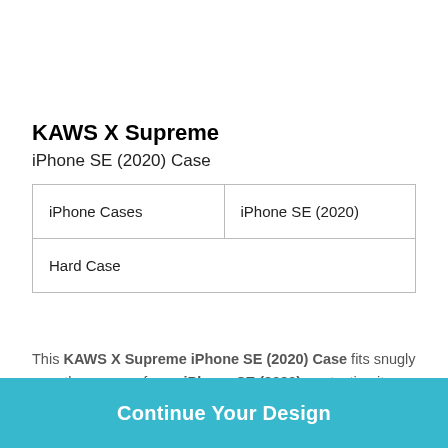KAWS X Supreme
iPhone SE (2020) Case
| iPhone Cases | iPhone SE (2020) |
| Hard Case |  |
This KAWS X Supreme iPhone SE (2020) Case fits snugly over the curves of your iPhone SE (2020), protecting it from harm without adding bulk.
Continue Your Design